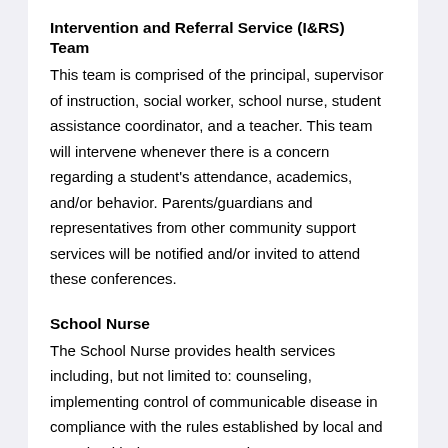Intervention and Referral Service (I&RS) Team
This team is comprised of the principal, supervisor of instruction, social worker, school nurse, student assistance coordinator, and a teacher. This team will intervene whenever there is a concern regarding a student's attendance, academics, and/or behavior. Parents/guardians and representatives from other community support services will be notified and/or invited to attend these conferences.
School Nurse
The School Nurse provides health services including, but not limited to: counseling, implementing control of communicable disease in compliance with the rules established by local and state health departments, assists